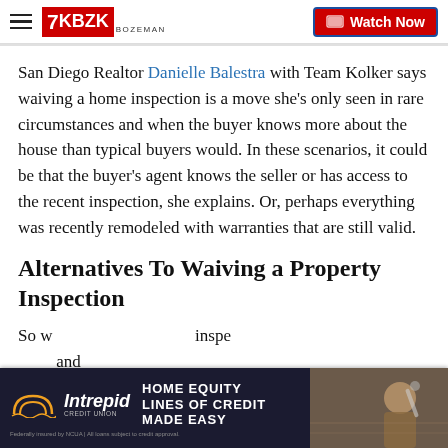KBZK BOZEMAN | Watch Now
San Diego Realtor Danielle Balestra with Team Kolker says waiving a home inspection is a move she's only seen in rare circumstances and when the buyer knows more about the house than typical buyers would. In these scenarios, it could be that the buyer's agent knows the seller or has access to the recent inspection, she explains. Or, perhaps everything was recently remodeled with warranties that are still valid.
Alternatives To Waiving a Property Inspection
So w... inspe... and
[Figure (other): Advertisement banner for Intrepid Credit Union: HOME EQUITY LINES OF CREDIT MADE EASY, with logo and image of person doing home renovation]